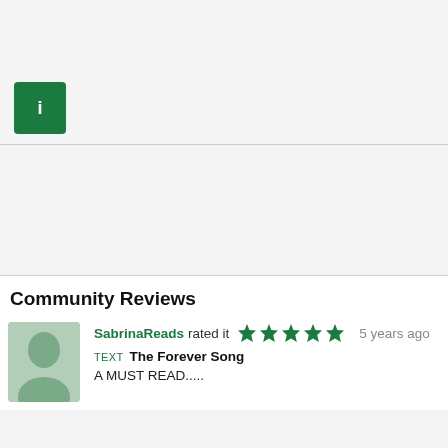Pages no: 416
Edition language: English
Category: Fantasy, Young Adult Fiction, Urban Fantasy, Paranormal, Post Apocalyptic, Supernatural
Series: Blood of Ec...
[Figure (illustration): Green info icon (letter i in white on green square background)]
Community Reviews
SabrinaReads rated it  5 years ago
[Figure (illustration): Five green star rating icons]
[Figure (illustration): Generic user avatar silhouette on green background]
TEXT  The Forever Song
A MUST READ.....